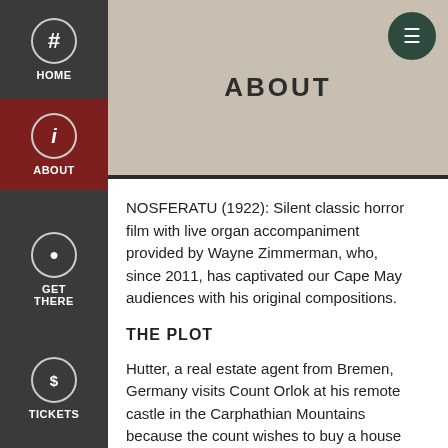ABOUT
NOSFERATU (1922): Silent classic horror film with live organ accompaniment provided by Wayne Zimmerman, who, since 2011, has captivated our Cape May audiences with his original compositions.
THE PLOT
Hutter, a real estate agent from Bremen, Germany visits Count Orlok at his remote castle in the Carphathian Mountains because the count wishes to buy a house in town - "a deserted one." On his way to the castle, Hutter visits an inn, where all of the customers fall silent when he mentions Orlok's name. Outside, horses bolt and run, and a hyena snarls before slinking away. He laughs off all the signs of gloom and doom, until, while dining with the count, he cuts himself with a bread knife and the